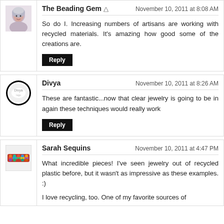[Figure (photo): Avatar of The Beading Gem - woman with grey/white hair]
The Beading Gem
November 10, 2011 at 8:08 AM
So do I. Increasing numbers of artisans are working with recycled materials. It's amazing how good some of the creations are.
Reply
[Figure (logo): Avatar of Divya - circular logo with dark border]
Divya
November 10, 2011 at 8:26 AM
These are fantastic...now that clear jewelry is going to be in again these techniques would really work
Reply
[Figure (photo): Avatar of Sarah Sequins - colorful sequin bracelet]
Sarah Sequins
November 10, 2011 at 4:47 PM
What incredible pieces! I've seen jewelry out of recycled plastic before, but it wasn't as impressive as these examples. :)
I love recycling, too. One of my favorite sources of